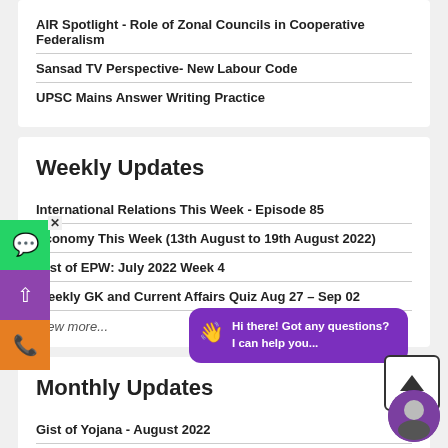AIR Spotlight - Role of Zonal Councils in Cooperative Federalism
Sansad TV Perspective- New Labour Code
UPSC Mains Answer Writing Practice
Weekly Updates
International Relations This Week - Episode 85
Economy This Week (13th August to 19th August 2022)
Gist of EPW: July 2022 Week 4
Weekly GK and Current Affairs Quiz Aug 27 – Sep 02
View more...
Monthly Updates
Gist of Yojana - August 2022